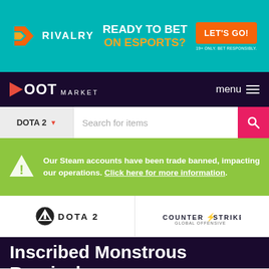[Figure (screenshot): Rivalry esports betting banner advertisement with teal background, Rivalry logo, 'READY TO BET ON ESPORTS?' text, and orange 'LET'S GO!' button]
LOOT MARKET — menu
DOTA 2 — Search for items
Our Steam accounts have been trade banned, impacting our operations. Click here for more information.
[Figure (logo): DOTA 2 logo]
[Figure (logo): Counter-Strike Global Offensive logo]
Inscribed Monstrous Reprisal